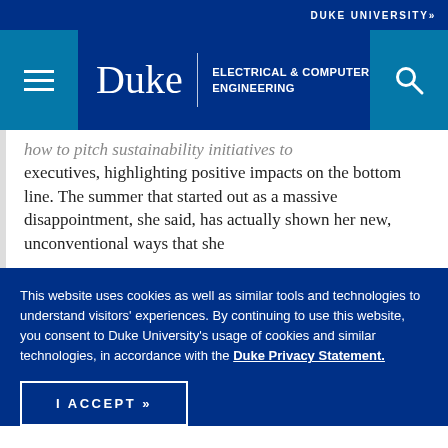DUKE UNIVERSITY»
[Figure (logo): Duke University Electrical & Computer Engineering navigation header with hamburger menu, Duke wordmark, department name, and search icon on dark blue background]
how to pitch sustainability initiatives to executives, highlighting positive impacts on the bottom line. The summer that started out as a massive disappointment, she said, has actually shown her new, unconventional ways that she
This website uses cookies as well as similar tools and technologies to understand visitors' experiences. By continuing to use this website, you consent to Duke University's usage of cookies and similar technologies, in accordance with the Duke Privacy Statement.
I ACCEPT »